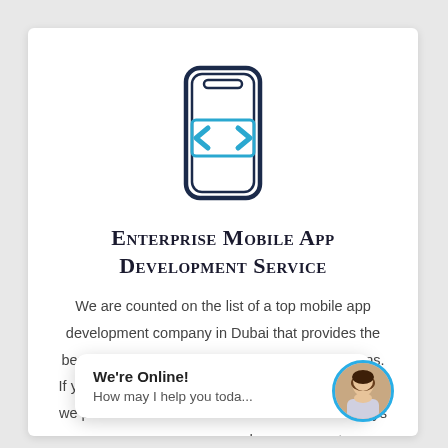[Figure (illustration): Smartphone icon with a code bracket symbol on the screen, outlined in dark navy and teal/blue colors]
Enterprise Mobile App Development Service
We are counted on the list of a top mobile app development company in Dubai that provides the best enterprise mobile app development solutions. If you are a part of a large or small business owner, we provide the best solutions. Our team will always … and guarantee…
[Figure (illustration): Live chat widget popup showing 'We're Online!' and 'How may I help you toda...' with a female avatar photo]